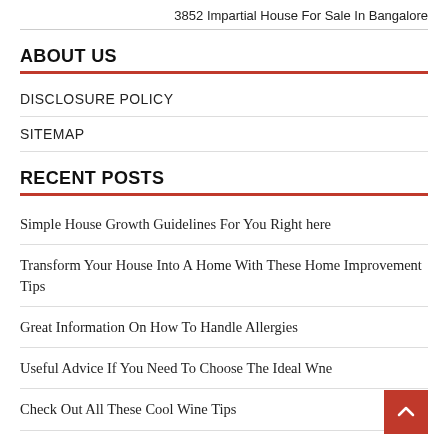3852 Impartial House For Sale In Bangalore
ABOUT US
DISCLOSURE POLICY
SITEMAP
RECENT POSTS
Simple House Growth Guidelines For You Right here
Transform Your House Into A Home With These Home Improvement Tips
Great Information On How To Handle Allergies
Useful Advice If You Need To Choose The Ideal Wne
Check Out All These Cool Wine Tips